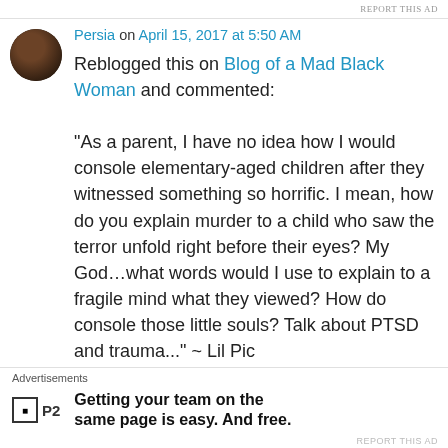REPORT THIS AD
Persia on April 15, 2017 at 5:50 AM
Reblogged this on Blog of a Mad Black Woman and commented:
“As a parent, I have no idea how I would console elementary-aged children after they witnessed something so horrific. I mean, how do you explain murder to a child who saw the terror unfold right before their eyes? My God…what words would I use to explain to a fragile mind what they viewed? How do console those little souls? Talk about PTSD and trauma...” ~ Lil Pic
Advertisements
Getting your team on the same page is easy. And free.